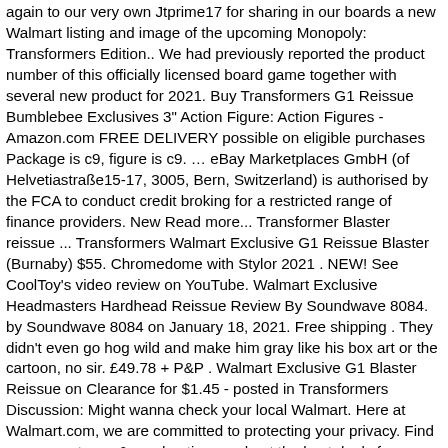again to our very own Jtprime17 for sharing in our boards a new Walmart listing and image of the upcoming Monopoly: Transformers Edition.. We had previously reported the product number of this officially licensed board game together with several new product for 2021. Buy Transformers G1 Reissue Bumblebee Exclusives 3" Action Figure: Action Figures - Amazon.com FREE DELIVERY possible on eligible purchases Package is c9, figure is c9. … eBay Marketplaces GmbH (of Helvetiastraße15-17, 3005, Bern, Switzerland) is authorised by the FCA to conduct credit broking for a restricted range of finance providers. New Read more... Transformer Blaster reissue ... Transformers Walmart Exclusive G1 Reissue Blaster (Burnaby) $55. Chromedome with Stylor 2021 . NEW! See CoolToy's video review on YouTube. Walmart Exclusive Headmasters Hardhead Reissue Review By Soundwave 8084. by Soundwave 8084 on January 18, 2021. Free shipping . They didn't even go hog wild and make him gray like his box art or the cartoon, no sir. £49.78 + P&P . Walmart Exclusive G1 Blaster Reissue on Clearance for $1.45 - posted in Transformers Discussion: Might wanna check your local Walmart. Here at Walmart.com, we are committed to protecting your privacy. Find many great new & used options and get the best deals for Hasbro Transformers G1 Reissue